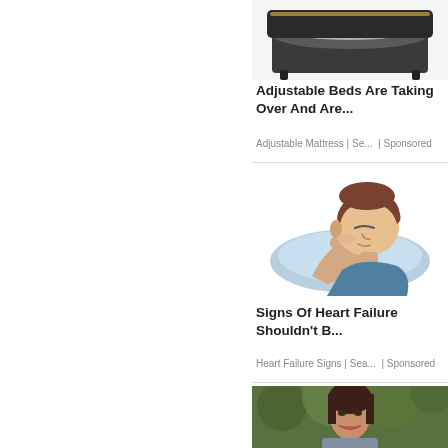[Figure (photo): Adjustable/smart bed product image showing a dark grey bed frame with grey bedding, top-down angled view]
Adjustable Beds Are Taking Over And Are...
Adjustable Mattress | Se...  | Sponsored
[Figure (illustration): Illustration of a person sleeping on a blue pillow, side profile, illustration style]
Signs Of Heart Failure Shouldn't B...
Heart Failure Signs | Sea...  | Sponsored
[Figure (photo): Partial photo of a woman outdoors with green foliage background, cropped at bottom]